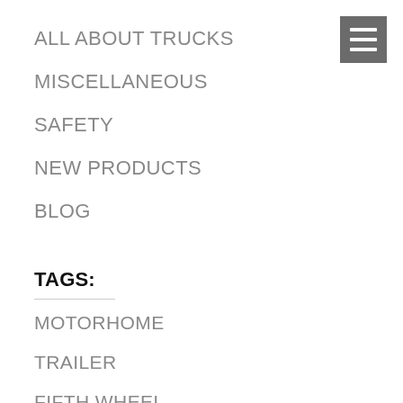[Figure (other): Hamburger menu icon — three white horizontal lines on a dark grey square background]
ALL ABOUT TRUCKS
MISCELLANEOUS
SAFETY
NEW PRODUCTS
BLOG
TAGS:
MOTORHOME
TRAILER
FIFTH WHEEL
RV